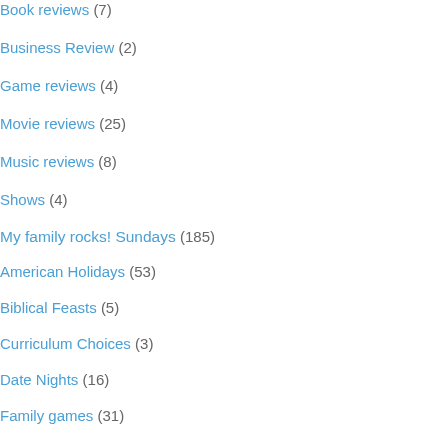Book reviews (7)
Business Review (2)
Game reviews (4)
Movie reviews (25)
Music reviews (8)
Shows (4)
My family rocks! Sundays (185)
American Holidays (53)
Biblical Feasts (5)
Curriculum Choices (3)
Date Nights (16)
Family games (31)
Family Trips (32)
Homeschool ideas (14)
Life with Baby (7)
Marriage (28)
Parenting (44)
pets (2)
Recipes (55)
Parties (27)